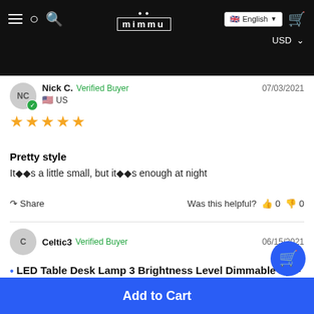mimmu store header with hamburger menu, search, logo, cart, English language selector, USD currency
Nick C. Verified Buyer 07/03/2021 US ★★★★★
Pretty style
It♦♦s a little small, but it♦♦s enough at night
Share  Was this helpful?  👍 0  👎 0
Celtic3 Verified Buyer 06/15/2021
LED Table Desk Lamp 3 Brightness Level Dimmable Eye-Caring Desk Light ...
USD 30.77  USD 21.37
Add to Cart